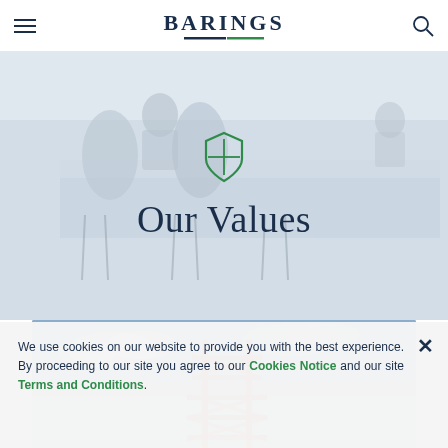BARINGS
[Figure (photo): Blurred office background with people seated at a long white table/counter, light and airy workspace]
[Figure (illustration): Green shield icon with cross/plus design, representing Barings values]
Our Values
[Figure (photo): Architectural image showing orange/red steel construction structure against a blue sky]
We use cookies on our website to provide you with the best experience. By proceeding to our site you agree to our Cookies Notice and our site Terms and Conditions.